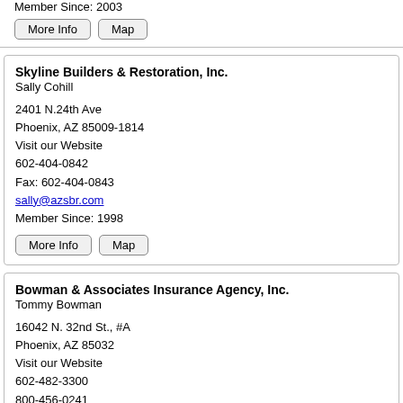Member Since: 2003
More Info | Map
Skyline Builders & Restoration, Inc.
Sally Cohill

2401 N.24th Ave
Phoenix, AZ 85009-1814
Visit our Website
602-404-0842
Fax: 602-404-0843
sally@azsbr.com
Member Since: 1998
More Info | Map
Bowman & Associates Insurance Agency, Inc.
Tommy Bowman

16042 N. 32nd St., #A
Phoenix, AZ 85032
Visit our Website
602-482-3300
800-456-0241
Fax: 602-482-7525
tommyb@bowmaninsurance.com
Member Since: 1981
More Info | Map